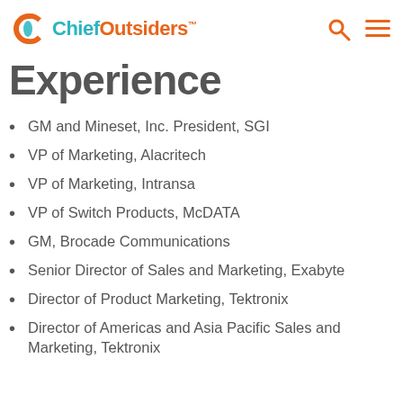Chief Outsiders
Experience
GM and Mineset, Inc. President, SGI
VP of Marketing, Alacritech
VP of Marketing, Intransa
VP of Switch Products, McDATA
GM, Brocade Communications
Senior Director of Sales and Marketing, Exabyte
Director of Product Marketing, Tektronix
Director of Americas and Asia Pacific Sales and Marketing, Tektronix